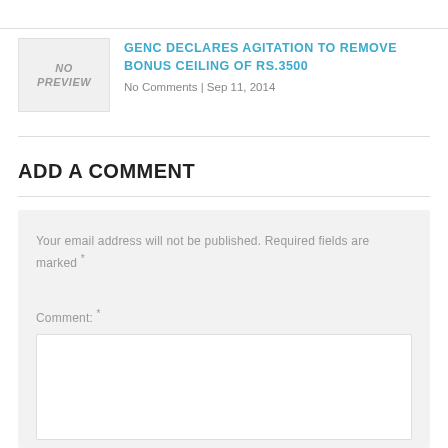[Figure (other): No Preview placeholder image box with italic bold text 'NO PREVIEW' on light gray background]
GENC DECLARES AGITATION TO REMOVE BONUS CEILING OF RS.3500
No Comments | Sep 11, 2014
ADD A COMMENT
Your email address will not be published. Required fields are marked *
Comment: *